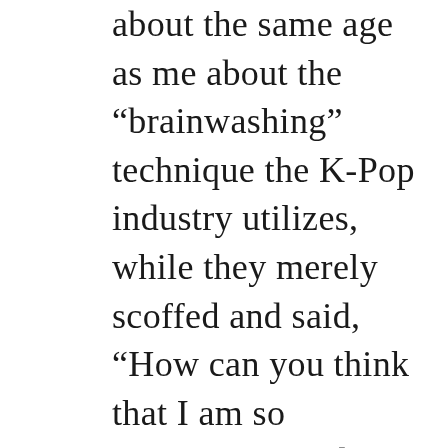about the same age as me about the “brainwashing” technique the K-Pop industry utilizes, while they merely scoffed and said, “How can you think that I am so ignorant? I’ve done my research on the K-Pop industry, and I don’t care if I’m being a ‘victim’. Victim or not, I also don’t care if I’m